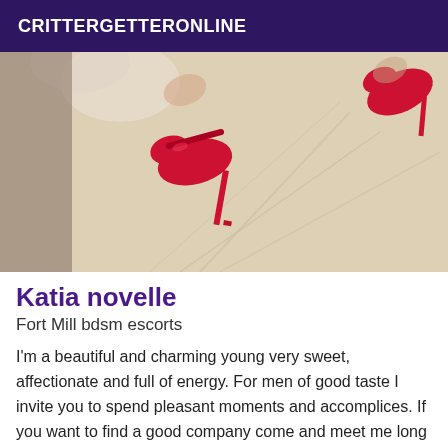CRITTERGETTERONLINE
[Figure (photo): Photo of a person's legs wearing red high heel shoes on a white bed with wrinkled sheets]
Katia novelle
Fort Mill bdsm escorts
I'm a beautiful and charming young very sweet, affectionate and full of energy. For men of good taste I invite you to spend pleasant moments and accomplices. If you want to find a good company come and meet me long and expert different pleasures offers complete relaxation body-body 69 ... To get out of everyday life do not hesitate to call me.